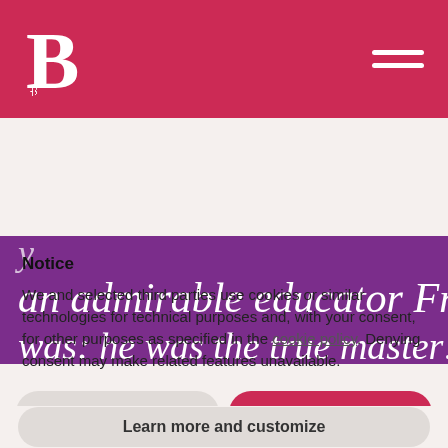[Figure (logo): Stylized letter B logo in white on crimson/red header bar with hamburger menu icon on the right]
an admirable educator Franck was: he was the true masterl
Notice
We and selected third parties use cookies or similar technologies for technical purposes and, with your consent, for other purposes as specified in the cookie policy. Denying consent may make related features unavailable.
Reject
Accept
Learn more and customize